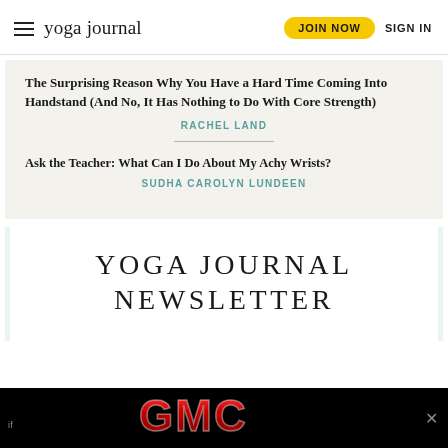yoga journal | JOIN NOW | SIGN IN
The Surprising Reason Why You Have a Hard Time Coming Into Handstand (And No, It Has Nothing to Do With Core Strength)
RACHEL LAND
Ask the Teacher: What Can I Do About My Achy Wrists?
SUDHA CAROLYN LUNDEEN
YOGA JOURNAL NEWSLETTER
[Figure (logo): GMC logo on black background advertisement bar]